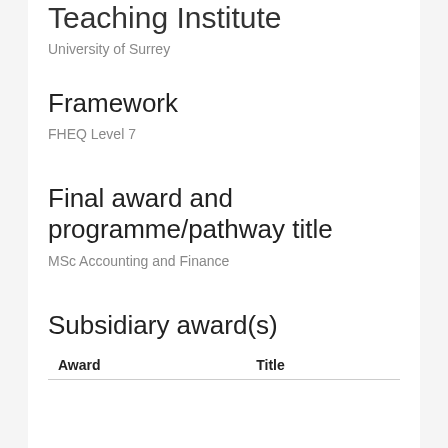Teaching Institute
University of Surrey
Framework
FHEQ Level 7
Final award and programme/pathway title
MSc Accounting and Finance
Subsidiary award(s)
| Award | Title |
| --- | --- |